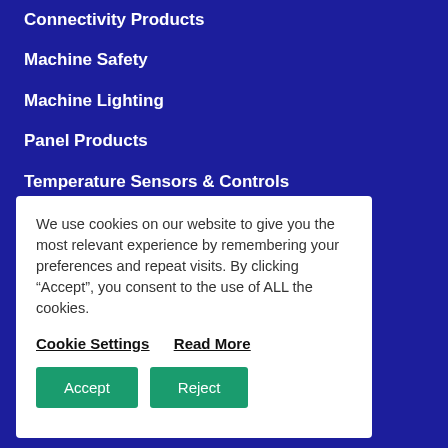Connectivity Products
Machine Safety
Machine Lighting
Panel Products
Temperature Sensors & Controls
Industrial Heaters
Machine Monitoring
We use cookies on our website to give you the most relevant experience by remembering your preferences and repeat visits. By clicking “Accept”, you consent to the use of ALL the cookies.
Cookie Settings   Read More
Accept   Reject